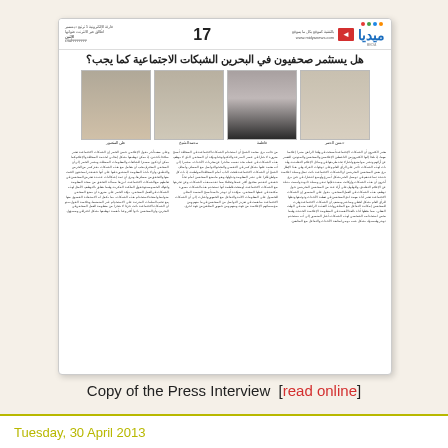[Figure (screenshot): Arabic newspaper page thumbnail showing a press interview article with headline in Arabic, four portrait photos of interviewees, and multi-column Arabic text. Page number 17 is visible in the header along with a logo reading 'Midyan' in Arabic.]
Copy of the Press Interview  [read online]
Share
Tuesday, 30 April 2013